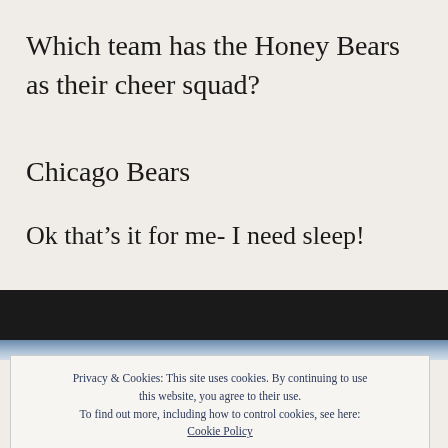Which team has the Honey Bears as their cheer squad?
Chicago Bears
Ok that’s it for me- I need sleep!
Privacy & Cookies: This site uses cookies. By continuing to use this website, you agree to their use.
To find out more, including how to control cookies, see here: Cookie Policy
Close and accept